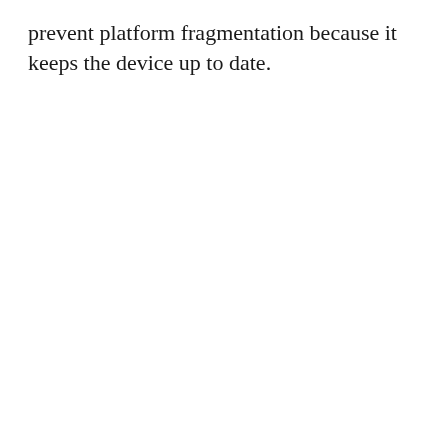prevent platform fragmentation because it keeps the device up to date.